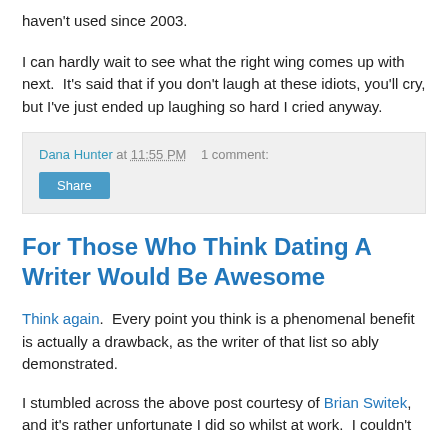haven't used since 2003.
I can hardly wait to see what the right wing comes up with next.  It's said that if you don't laugh at these idiots, you'll cry, but I've just ended up laughing so hard I cried anyway.
Dana Hunter at 11:55 PM   1 comment:
Share
For Those Who Think Dating A Writer Would Be Awesome
Think again.  Every point you think is a phenomenal benefit is actually a drawback, as the writer of that list so ably demonstrated.
I stumbled across the above post courtesy of Brian Switek, and it's rather unfortunate I did so whilst at work.  I couldn't